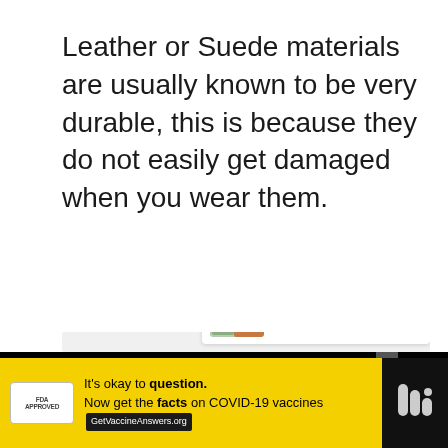Leather or Suede materials are usually known to be very durable, this is because they do not easily get damaged when you wear them.
[Figure (screenshot): Large light grey image placeholder area with social interaction buttons (heart/like button showing count of 2, share button) on right side, and a 'WHAT'S NEXT' card showing Ozalia Boots vs UGGs in bottom right corner]
[Figure (screenshot): Bottom advertisement banner on black background: yellow ad for COVID-19 vaccines reading 'It's okay to question. Now get the facts on COVID-19 vaccines GetVaccineAnswers.org' with close button, and a logo on the right]